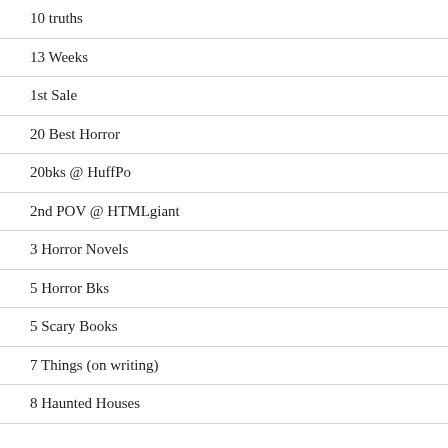10 truths
13 Weeks
1st Sale
20 Best Horror
20bks @ HuffPo
2nd POV @ HTMLgiant
3 Horror Novels
5 Horror Bks
5 Scary Books
7 Things (on writing)
8 Haunted Houses